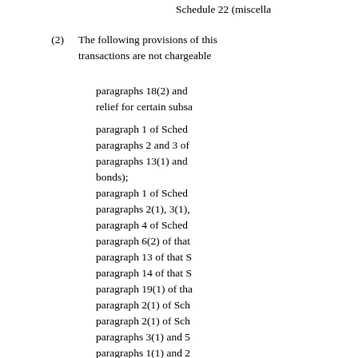Schedule 22 (miscella...
(2) The following provisions of this... transactions are not chargeable...
paragraphs 18(2) and... relief for certain subsa...
paragraph 1 of Sched...
paragraphs 2 and 3 of...
paragraphs 13(1) and... bonds);
paragraph 1 of Sched...
paragraphs 2(1), 3(1),...
paragraph 4 of Sched...
paragraph 6(2) of that...
paragraph 13 of that S...
paragraph 14 of that S...
paragraph 19(1) of tha...
paragraph 2(1) of Sch...
paragraph 2(1) of Sch...
paragraphs 3(1) and 5...
paragraphs 1(1) and 2...